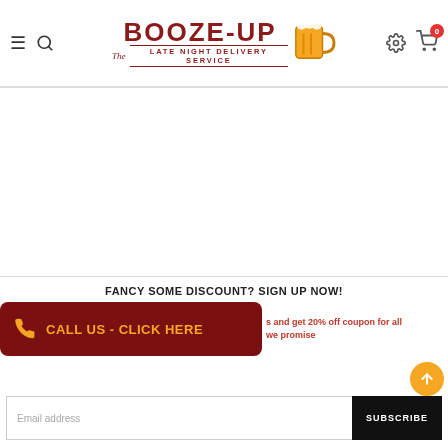[Figure (logo): Booze-Up The Late Night Delivery Service logo with beer mug illustration]
FANCY SOME DISCOUNT? SIGN UP NOW!
CALL US - CLICK HERE
s and get 20% off coupon for all we promise
Email address
SUBSCRIBE